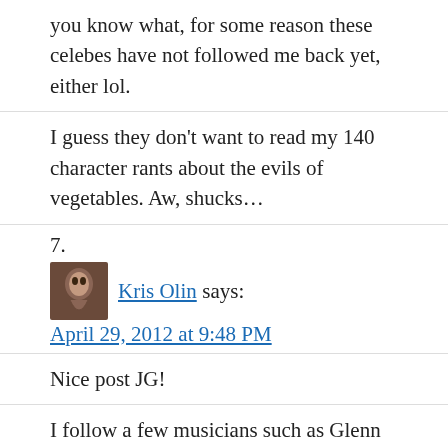you know what, for some reason these celebes have not followed me back yet, either lol.
I guess they don't want to read my 140 character rants about the evils of vegetables. Aw, shucks…
7.
Kris Olin says:
April 29, 2012 at 9:48 PM
Nice post JG!
I follow a few musicians such as Glenn Hughes and Keef. I also follow some heavy hitters like Lady Gaga and Britney Bitch, and 10 Downing St and of course Barack Obama. For awhile Britney and Barack were actually following me back! (for